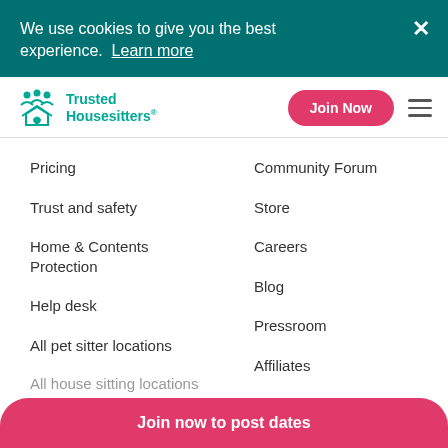We use cookies to give you the best experience.  Learn more
[Figure (logo): Trusted Housesitters logo with teal icon and text]
Pricing
Community Forum
Trust and safety
Store
Home & Contents Protection
Careers
Blog
Help desk
Pressroom
All pet sitter locations
Affiliates
All house sitting locations
Join now to post dates